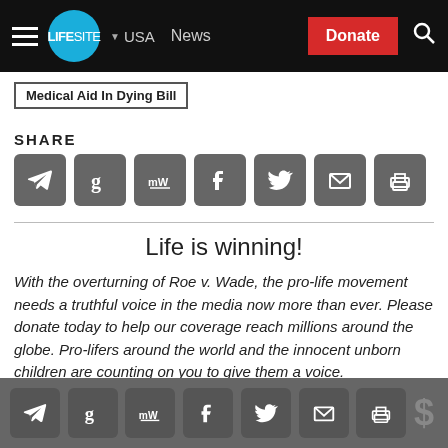[Figure (screenshot): LifeSite News navigation bar with hamburger menu, logo, USA dropdown, News link, red Donate button, and search icon on black background]
Medical Aid In Dying Bill
SHARE
[Figure (infographic): Row of 7 social share icon buttons: Telegram, Gettr, MeWe, Facebook, Twitter, Email, Print]
Life is winning!
With the overturning of Roe v. Wade, the pro-life movement needs a truthful voice in the media now more than ever. Please donate today to help our coverage reach millions around the globe. Pro-lifers around the world and the innocent unborn children are counting on you to give them a voice.
[Figure (screenshot): Bottom sticky bar with social share icons and dollar sign donate button]